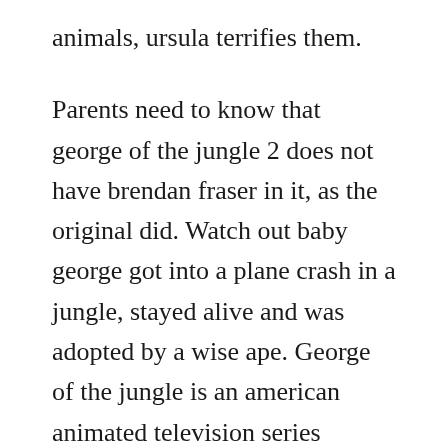animals, ursula terrifies them.
Parents need to know that george of the jungle 2 does not have brendan fraser in it, as the original did. Watch out baby george got into a plane crash in a jungle, stayed alive and was adopted by a wise ape. George of the jungle is an american animated television series produced by jay ward and. Take a vineswinging ride with george, the undisputed king of the jungle in the first season of the new cartoon network series on dvd. Complete series available in dvd ship this item this item